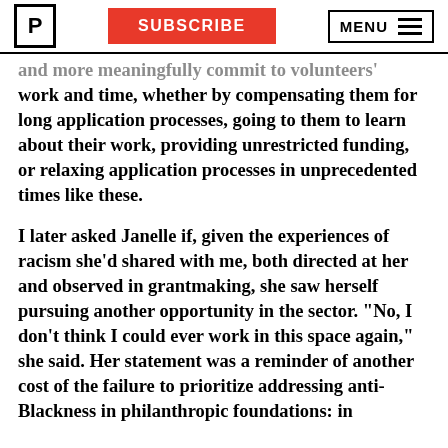SUBSCRIBE | MENU
work and time, whether by compensating them for long application processes, going to them to learn about their work, providing unrestricted funding, or relaxing application processes in unprecedented times like these.

I later asked Janelle if, given the experiences of racism she’d shared with me, both directed at her and observed in grantmaking, she saw herself pursuing another opportunity in the sector. “No, I don’t think I could ever work in this space again,” she said. Her statement was a reminder of another cost of the failure to prioritize addressing anti-Blackness in philanthropic foundations: in